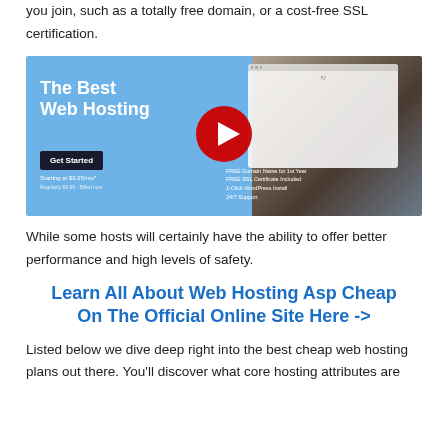you join, such as a totally free domain, or a cost-free SSL certification.
[Figure (screenshot): YouTube-style video thumbnail showing 'The Best Web Hosting' text on blue background with a man with afro hairstyle and a red play button overlay. Includes a 'Get Started' button and pricing details.]
While some hosts will certainly have the ability to offer better performance and high levels of safety.
Learn All About Web Hosting Asp Cheap On The Official Online Site Here ->
Listed below we dive deep right into the best cheap web hosting plans out there. You'll discover what core hosting attributes are